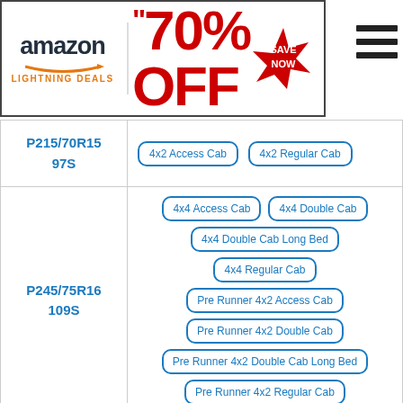[Figure (infographic): Amazon Lightning Deals banner ad with '70% OFF' text in red and a 'SAVE NOW' starburst badge]
| Tire Size | Fits |
| --- | --- |
| P215/70R15 97S | 4x2 Access Cab, 4x2 Regular Cab |
| P245/75R16 109S | 4x4 Access Cab, 4x4 Double Cab, 4x4 Double Cab Long Bed, 4x4 Regular Cab, Pre Runner 4x2 Access Cab, Pre Runner 4x2 Double Cab, Pre Runner 4x2 Double Cab Long Bed, Pre Runner 4x2 Regular Cab |
| P255/45R18 99V | X-Runner |
| (partial) | 4x4 Access Cab, 4x4 Double Cab, 4x4 Double Cab Long Bed |